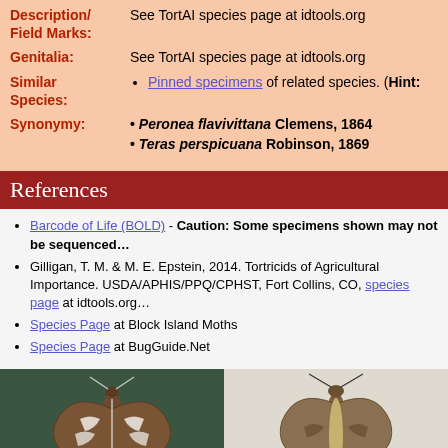Description/ Field Marks: See TortAI species page at idtools.org
Genitalia: See TortAI species page at idtools.org
Similar Species: Pinned specimens of related species. (Hint:...
Synonymy: • Peronea flavivittana Clemens, 1864 • Teras perspicuana Robinson, 1869
References
Barcode of Life (BOLD) - Caution: Some specimens shown may not be sequenced...
Gilligan, T. M. & M. E. Epstein, 2014. Tortricids of Agricultural Importance. USDA/APHIS/PPQ/CPHST, Fort Collins, CO, species page at idtools.org
Species Page at Block Island Moths
Species Page at BugGuide.Net
[Figure (photo): Two photos of pinned moth specimens. Left: moth on dark green background showing dorsal wing pattern with white markings. Right: moth on white/light background showing dorsal view with brown/tan coloring.]